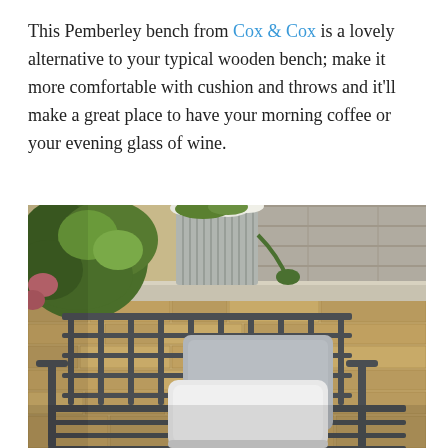This Pemberley bench from Cox & Cox is a lovely alternative to your typical wooden bench; make it more comfortable with cushion and throws and it'll make a great place to have your morning coffee or your evening glass of wine.
[Figure (photo): Outdoor garden scene showing a dark grey metal Pemberley bench with white and grey cushions, set against a rustic stone wall. In the background is a large ribbed grey metal planter with white flowers and green foliage, on a stone patio with steps.]